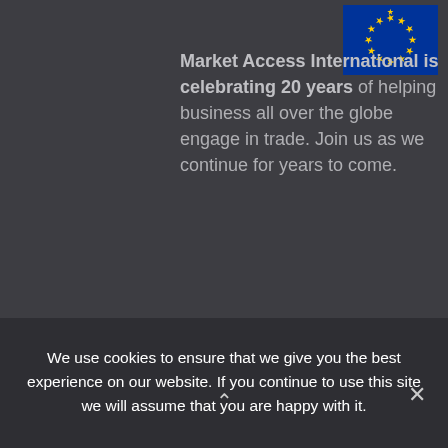[Figure (illustration): European Union flag — blue background with yellow stars arranged in a circle]
Market Access International is celebrating 20 years of helping business all over the globe engage in trade. Join us as we continue for years to come.
We use cookies to ensure that we give you the best experience on our website. If you continue to use this site we will assume that you are happy with it.